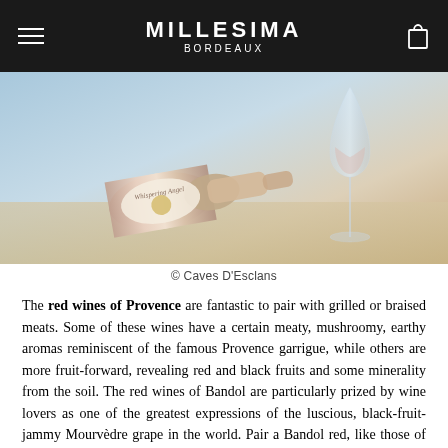MILLESIMA BORDEAUX
[Figure (photo): A bottle of Whispering Angel rosé wine lying on its side near the beach with a wine glass in the background, sunlit setting]
© Caves D'Esclans
The red wines of Provence are fantastic to pair with grilled or braised meats. Some of these wines have a certain meaty, mushroomy, earthy aromas reminiscent of the famous Provence garrigue, while others are more fruit-forward, revealing red and black fruits and some minerality from the soil. The red wines of Bandol are particularly prized by wine lovers as one of the greatest expressions of the luscious, black-fruit-jammy Mourvèdre grape in the world. Pair a Bandol red, like those of Domaine de la Begude, with gamey meats like a beefy stew or venison.